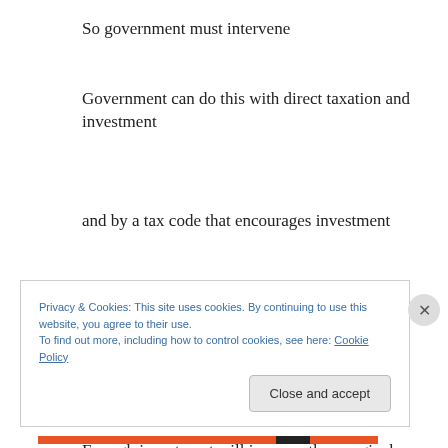So government must intervene
Government can do this with direct taxation and investment
and by a tax code that encourages investment
In a stable and just society we would all have savings and spending that savings would contribute to and count as investment
Enough investment will increase the marginal
Privacy & Cookies: This site uses cookies. By continuing to use this website, you agree to their use.
To find out more, including how to control cookies, see here: Cookie Policy
Close and accept